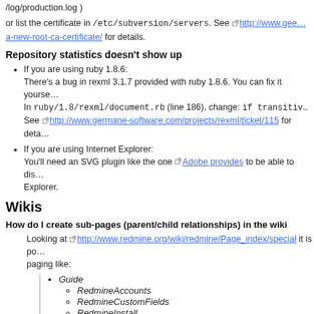/log/production.log )
or list the certificate in /etc/subversion/servers. See http://www.gee...a-new-root-ca-certificate/ for details.
Repository statistics doesn't show up
If you are using ruby 1.8.6:
There's a bug in rexml 3.1.7 provided with ruby 1.8.6. You can fix it yourself.
In ruby/1.8/rexml/document.rb (line 186), change: if transitiv...
See http://www.germane-software.com/projects/rexml/ticket/115 for details.
If you are using Internet Explorer:
You'll need an SVG plugin like the one Adobe provides to be able to display in Internet Explorer.
Wikis
How do I create sub-pages (parent/child relationships) in the wiki
Looking at http://www.redmine.org/wiki/redmine/Page_index/special it is possible to do paging like:
Guide
  - RedmineAccounts
  - RedmineCustomFields
  - RedmineInstall
  - RedmineIssueList
  - RedmineIssues
This can be accomplished by assigning a parent page to a to-be child-page. This is done in the rename dialog.
Thus, create both the child- and parent-pages and then open the to-be child...